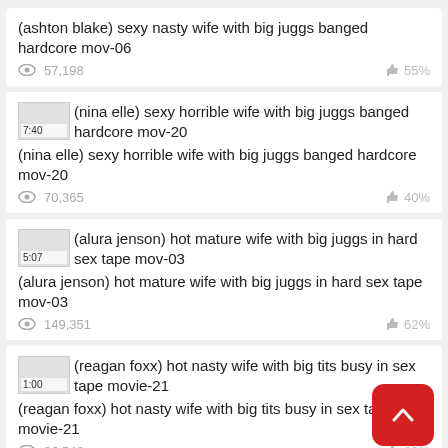(ashton blake) sexy nasty wife with big juggs banged hardcore mov-06 | 57,198 views | 55%
(nina elle) sexy horrible wife with big juggs banged hardcore mov-20 | 70,365 views | 40%
(alura jenson) hot mature wife with big juggs in hard sex tape mov-03 | 149,351 views | 62%
(reagan foxx) hot nasty wife with big tits busy in sex tape movie-21 | 36,542 views | 83%
(... addams) hot nasty wife with big tits busy in sex tape movie...